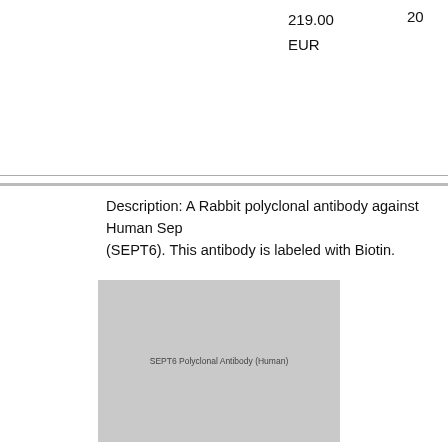219.00 EUR
20
Description: A Rabbit polyclonal antibody against Human Septin 6 (SEPT6). This antibody is labeled with Biotin.
[Figure (photo): Product image placeholder for SEPT6 Polyclonal Antibody (Human)]
Septin 6 (SEPT6) Polyclonal Antibody (Human), Cy3
419.00 EUR 4325.00 EUR 1175.00 EUR
10 10 1
4-PAE966Hu01-Cy3   Cloud Clone   EUR